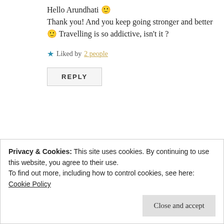Hello Arundhati 🙂 Thank you! And you keep going stronger and better 🙂 Travelling is so addictive, isn't it ?
★ Liked by 2 people
REPLY
DIPPY-DOTTY GIRL
March 3, 2018 at 1:12 am
Privacy & Cookies: This site uses cookies. By continuing to use this website, you agree to their use. To find out more, including how to control cookies, see here: Cookie Policy
Close and accept